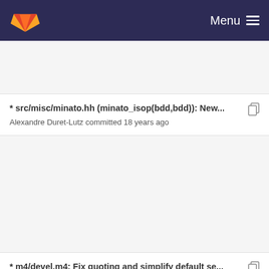Menu
* src/misc/minato.hh (minato_isop(bdd,bdd)): New...
Alexandre Duret-Lutz committed 18 years ago
* m4/devel.m4: Fix quoting and simplify default se...
Alexandre Duret-Lutz committed 18 years ago
* src/misc/minato.cc, src/misc/minato.hh: New files.
Alexandre Duret-Lutz committed 18 years ago
* AUTHORS: New file.
Alexandre Duret-Lutz committed 18 years ago